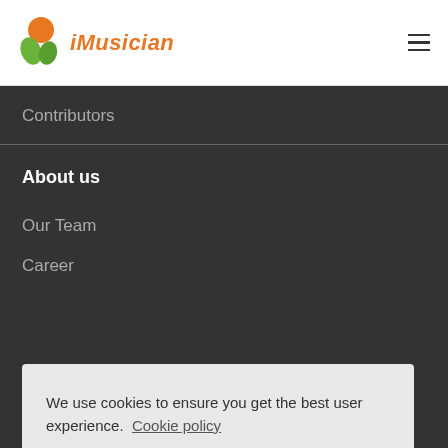iMusician
Contributors
About us
Our Team
Career
We use cookies to ensure you get the best user experience. Cookie policy
I accept